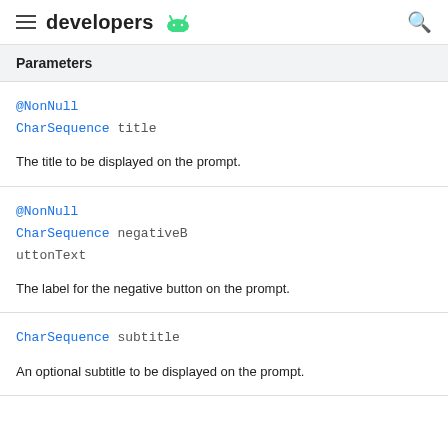developers
Parameters
@NonNull
CharSequence title
The title to be displayed on the prompt.
@NonNull
CharSequence negativeButtonText
The label for the negative button on the prompt.
CharSequence subtitle
An optional subtitle to be displayed on the prompt.